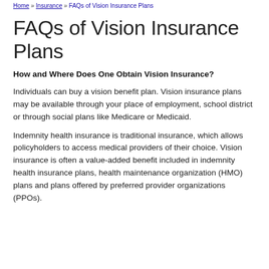Home » Insurance » FAQs of Vision Insurance Plans
FAQs of Vision Insurance Plans
How and Where Does One Obtain Vision Insurance?
Individuals can buy a vision benefit plan. Vision insurance plans may be available through your place of employment, school district or through social plans like Medicare or Medicaid.
Indemnity health insurance is traditional insurance, which allows policyholders to access medical providers of their choice. Vision insurance is often a value-added benefit included in indemnity health insurance plans, health maintenance organization (HMO) plans and plans offered by preferred provider organizations (PPOs).